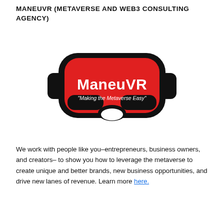MANEUVR (METAVERSE AND WEB3 CONSULTING AGENCY)
[Figure (logo): ManeuVR logo: VR headset shape with red face plate displaying 'ManeuVR' in bold white text and tagline 'Making the Metaverse Easy' in white italic text, outlined in thick black stroke on white background]
We work with people like you–entrepreneurs, business owners, and creators– to show you how to leverage the metaverse to create unique and better brands, new business opportunities, and drive new lanes of revenue. Learn more here.